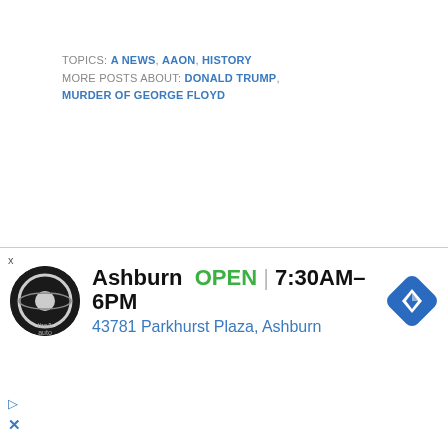TOPICS: A NEWS, AAON, HISTORY MORE POSTS ABOUT: DONALD TRUMP, MURDER OF GEORGE FLOYD
Related Posts
Georgia criminal probe poses greatest threat to Trump
Biden to give prime-time warning on US democracy
Two Out Of Five Say America Is Heading Toward Civil War In The Next Decade. What Does That Look Like?
[Figure (other): Advertisement banner for Ashburn Tire & Auto: OPEN 7:30AM-6PM, 43781 Parkhurst Plaza, Ashburn]